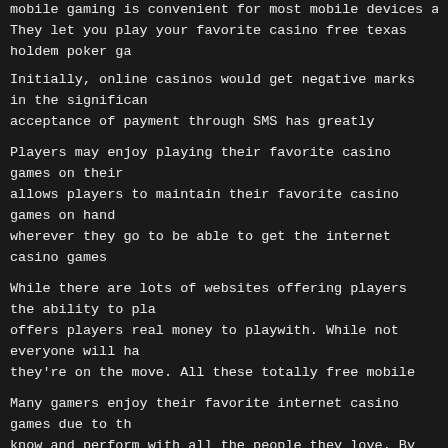mobile gaming is convenient for most mobile devices and most... They let you play your favorite casino free texas holdem poker ga... right out of your device s web browser together with your existing... exciting games they'd see in the real money gambling places.
Initially, online casinos would get negative marks in the significan... acceptance of payment through SMS has greatly improved since... their mobile devices in order to receive their winnings.
Players may enjoy playing their favorite casino games on their... allows players to maintain their favorite casino games on hand... wherever they go to be able to get the internet casino games... bonuses, coins, lottery tickets, and more right in their smartpho... with other players, and also download great apps for their devic... able to keep in touch with the area of gaming by enjoying their fa...
While there are lots of websites offering players the ability to pla... offers players real money to playwith. While not everyone will ha... they're on the move. All these totally free mobile games come... number of the top online casinos which provide users the capab... Plaza, and many others.
Many gamers enjoy their favorite internet casino games due to th... know and perform with all the people they love. By staying conn... that helps them win more cash while playing with their favorite ca... favorite online casinos on their cellular devices, gamblers also fi... be cashed in on their mobile devices, players are far better ab...